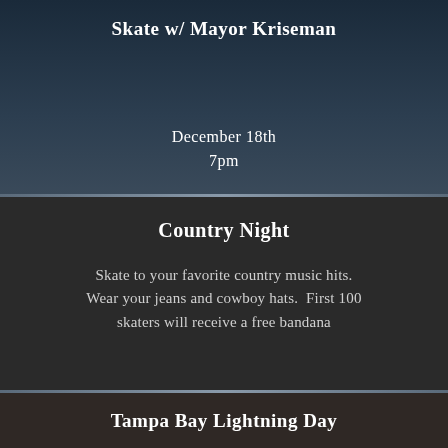Skate w/ Mayor Kriseman
December 18th
7pm
Country Night
Skate to your favorite country music hits. Wear your jeans and cowboy hats. First 100 skaters will receive a free bandana
Thursday January 6th
4pm
Tampa Bay Lightning Day